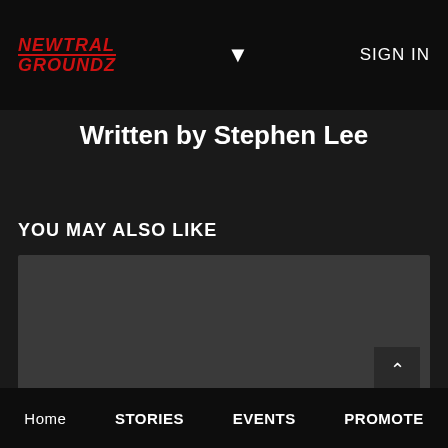NEWTRAL GROUNDZ  ▼  SIGN IN
Written by Stephen Lee
YOU MAY ALSO LIKE
[Figure (other): Dark grey placeholder content area with a scroll-to-top button (chevron up arrow) in the bottom-right corner]
Home  STORIES  EVENTS  PROMOTE